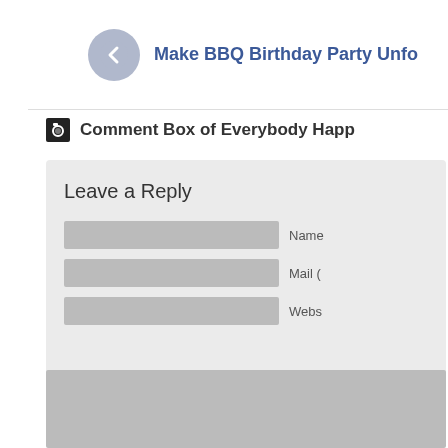[Figure (screenshot): Navigation back button with circular grey icon and blue link text 'Make BBQ Birthday Party Unfo...']
Comment Box of Everybody Happ...
Leave a Reply
[Figure (screenshot): Web form with Name, Mail, Website input fields and a large grey textarea for comments]